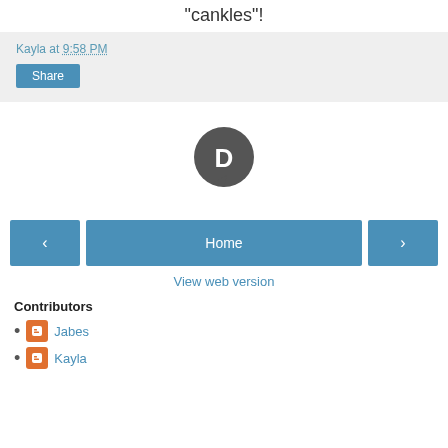"cankles"!
Kayla at 9:58 PM
Share
[Figure (logo): Disqus speech bubble logo icon in dark gray with white D letter]
< Home >
View web version
Contributors
Jabes
Kayla